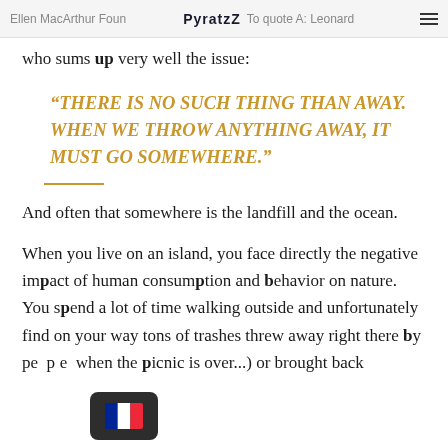Ellen MacArthur Found PyratzZ To quote A: Leonard
who sums up very well the issue:
“There is no such thing than away. When we throw anything away, it must go somewhere.”
And often that somewhere is the landfill and the ocean.
When you live on an island, you face directly the negative impact of human consumption and behavior on nature. You spend a lot of time walking outside and unfortunately find on your way tons of trashes threw away right there by people when the picnic is over...) or brought back